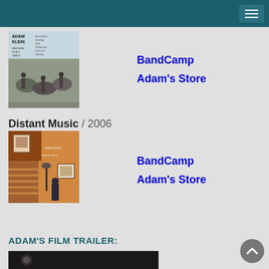[Figure (photo): Album cover for Adam Klein, Western-themed with horses and people]
BandCamp
Adam's Store
Distant Music / 2006
[Figure (photo): Album cover for Distant Music, showing a staircase and figure in warm tones]
BandCamp
Adam's Store
ADAM'S FILM TRAILER:
[Figure (photo): Film trailer thumbnail, dark image]